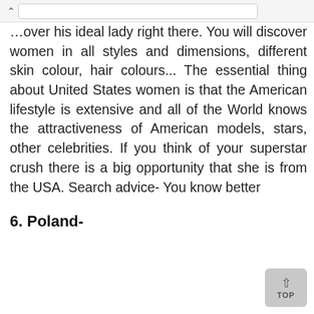...over his ideal lady right there. You will discover women in all styles and dimensions, different skin colour, hair colours... The essential thing about United States women is that the American lifestyle is extensive and all of the World knows the attractiveness of American models, stars, other celebrities. If you think of your superstar crush there is a big opportunity that she is from the USA. Search advice- You know better
6. Poland-